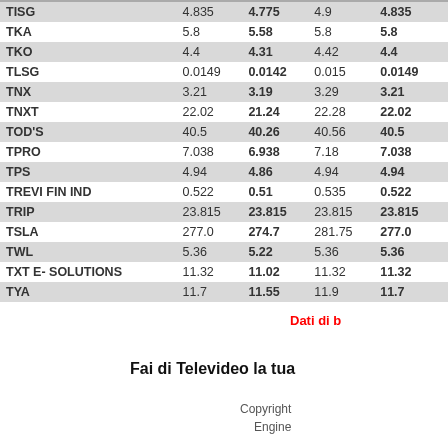|  | Open | Last | High | Close |
| --- | --- | --- | --- | --- |
| TISG | 4.835 | 4.775 | 4.9 | 4.835 |
| TKA | 5.8 | 5.58 | 5.8 | 5.8 |
| TKO | 4.4 | 4.31 | 4.42 | 4.4 |
| TLSG | 0.0149 | 0.0142 | 0.015 | 0.0149 |
| TNX | 3.21 | 3.19 | 3.29 | 3.21 |
| TNXT | 22.02 | 21.24 | 22.28 | 22.02 |
| TOD'S | 40.5 | 40.26 | 40.56 | 40.5 |
| TPRO | 7.038 | 6.938 | 7.18 | 7.038 |
| TPS | 4.94 | 4.86 | 4.94 | 4.94 |
| TREVI FIN IND | 0.522 | 0.51 | 0.535 | 0.522 |
| TRIP | 23.815 | 23.815 | 23.815 | 23.815 |
| TSLA | 277.0 | 274.7 | 281.75 | 277.0 |
| TWL | 5.36 | 5.22 | 5.36 | 5.36 |
| TXT E- SOLUTIONS | 11.32 | 11.02 | 11.32 | 11.32 |
| TYA | 11.7 | 11.55 | 11.9 | 11.7 |
Dati di b
Fai di Televideo la tua
Copyright
Engine